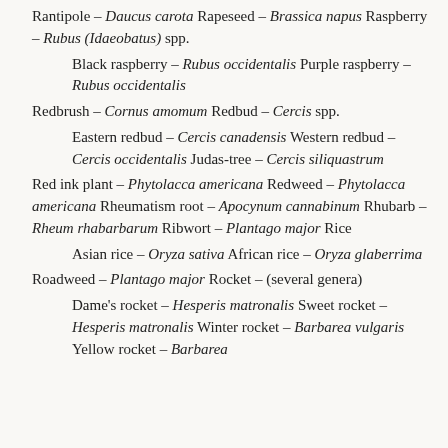Rantipole – Daucus carota Rapeseed – Brassica napus Raspberry – Rubus (Idaeobatus) spp.
Black raspberry – Rubus occidentalis Purple raspberry – Rubus occidentalis
Redbrush – Cornus amomum Redbud – Cercis spp.
Eastern redbud – Cercis canadensis Western redbud – Cercis occidentalis Judas-tree – Cercis siliquastrum
Red ink plant – Phytolacca americana Redweed – Phytolacca americana Rheumatism root – Apocynum cannabinum Rhubarb – Rheum rhabarbarum Ribwort – Plantago major Rice
Asian rice – Oryza sativa African rice – Oryza glaberrima
Roadweed – Plantago major Rocket – (several genera)
Dame's rocket – Hesperis matronalis Sweet rocket – Hesperis matronalis Winter rocket – Barbarea vulgaris Yellow rocket – Barbarea